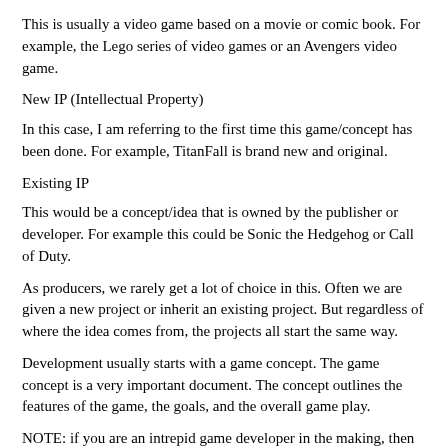This is usually a video game based on a movie or comic book.  For example, the Lego series of video games or an Avengers video game.
New IP (Intellectual Property)
In this case, I am referring to the first time this game/concept has been done.  For example, TitanFall is brand new and original.
Existing IP
This would be a concept/idea that is owned by the publisher or developer.  For example this could be Sonic the Hedgehog or Call of Duty.
As producers, we rarely get a lot of choice in this.  Often we are given a new project or inherit an existing project.  But regardless of where the idea comes from, the projects all start the same way.
Development usually starts with a game concept.  The game concept is a very important document.  The concept outlines the features of the game, the goals, and the overall game play.
NOTE:  if you are an intrepid game developer in the making, then you should spend time writing up your own game concepts.